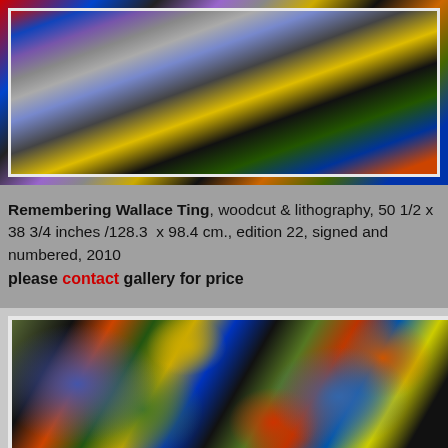[Figure (photo): Partial view of a colorful abstract artwork — woodcut and lithography with vibrant colors including red, blue, purple, black, yellow, and green on white background with white border/mat.]
Remembering Wallace Ting, woodcut & lithography, 50 1/2 x 38 3/4 inches /128.3  x 98.4 cm., edition 22, signed and numbered, 2010
please contact gallery for price
[Figure (photo): Partial view of a second colorful abstract artwork with vibrant splashes of green, black, orange, red, blue, yellow, and brown on an olive/khaki background, with white mat/border.]